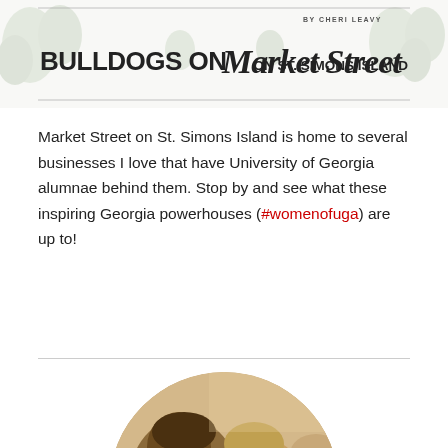[Figure (illustration): Header banner with illustrated trees/foliage, text 'BY CHERI LEAVY' in small caps top right, and large title text 'BULLDOGS ON Market Street ON ST. SIMONS ISLAND']
Market Street on St. Simons Island is home to several businesses I love that have University of Georgia alumnae behind them. Stop by and see what these inspiring Georgia powerhouses (#womenofuga) are up to!
[Figure (photo): Circular cropped photo of women gathered together, leaning in, appearing to be in conversation or looking at something together]